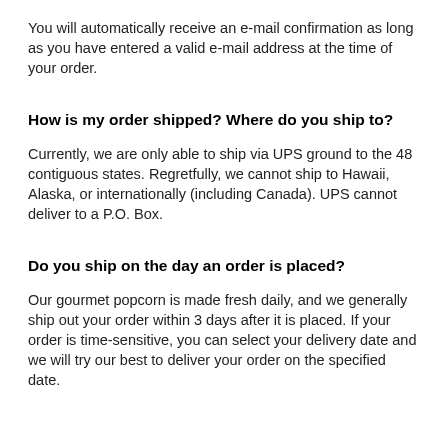You will automatically receive an e-mail confirmation as long as you have entered a valid e-mail address at the time of your order.
How is my order shipped? Where do you ship to?
Currently, we are only able to ship via UPS ground to the 48 contiguous states. Regretfully, we cannot ship to Hawaii, Alaska, or internationally (including Canada). UPS cannot deliver to a P.O. Box.
Do you ship on the day an order is placed?
Our gourmet popcorn is made fresh daily, and we generally ship out your order within 3 days after it is placed. If your order is time-sensitive, you can select your delivery date and we will try our best to deliver your order on the specified date.